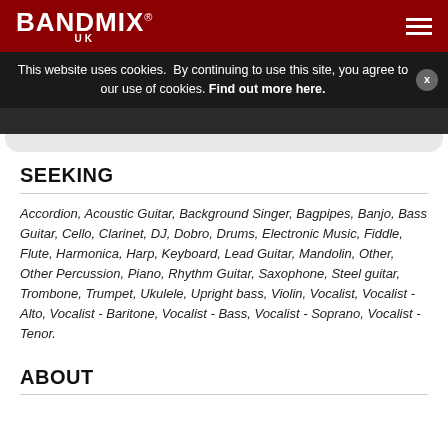BANDMIX® UK
This website uses cookies.  By continuing to use this site, you agree to our use of cookies. Find out more here.
SEEKING
Accordion, Acoustic Guitar, Background Singer, Bagpipes, Banjo, Bass Guitar, Cello, Clarinet, DJ, Dobro, Drums, Electronic Music, Fiddle, Flute, Harmonica, Harp, Keyboard, Lead Guitar, Mandolin, Other, Other Percussion, Piano, Rhythm Guitar, Saxophone, Steel guitar, Trombone, Trumpet, Ukulele, Upright bass, Violin, Vocalist, Vocalist - Alto, Vocalist - Baritone, Vocalist - Bass, Vocalist - Soprano, Vocalist - Tenor.
ABOUT